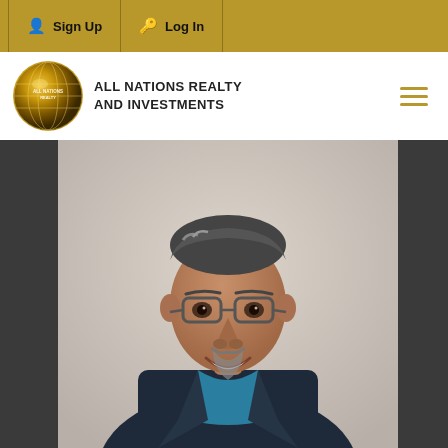Sign Up  Log In
[Figure (logo): All Nations Realty and Investments globe logo with brand name text]
[Figure (photo): Professional headshot of a middle-aged Hispanic man with glasses, grey-streaked dark hair, goatee, wearing a dark navy blazer over a teal/blue dress shirt, smiling, light grey background]